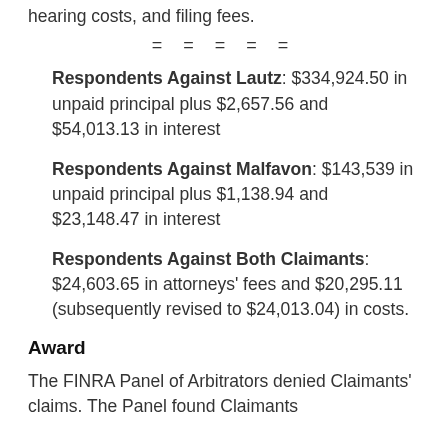hearing costs, and filing fees.
= = = = =
Respondents Against Lautz: $334,924.50 in unpaid principal plus $2,657.56 and $54,013.13 in interest
Respondents Against Malfavon: $143,539 in unpaid principal plus $1,138.94 and $23,148.47 in interest
Respondents Against Both Claimants: $24,603.65 in attorneys' fees and $20,295.11 (subsequently revised to $24,013.04) in costs.
Award
The FINRA Panel of Arbitrators denied Claimants' claims. The Panel found Claimants